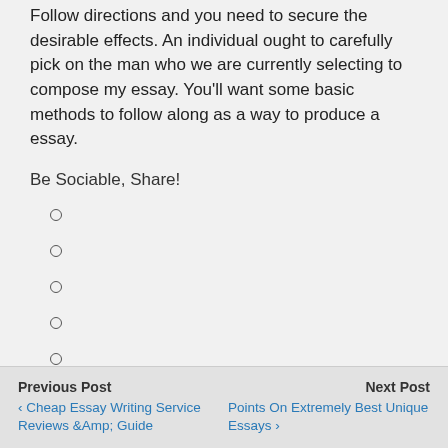Follow directions and you need to secure the desirable effects. An individual ought to carefully pick on the man who we are currently selecting to compose my essay. You'll want some basic methods to follow along as a way to produce a essay.
Be Sociable, Share!
Previous Post
< Cheap Essay Writing Service Reviews &Amp; Guide
Next Post
Points On Extremely Best Unique Essays >